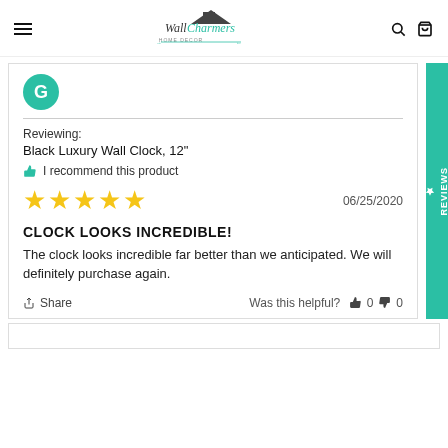Wall Charmers
[Figure (illustration): User avatar circle with letter G in teal/green]
Reviewing:
Black Luxury Wall Clock, 12"
I recommend this product
★★★★★  06/25/2020
CLOCK LOOKS INCREDIBLE!
The clock looks incredible far better than we anticipated. We will definitely purchase again.
Share   Was this helpful?  👍 0  👎 0